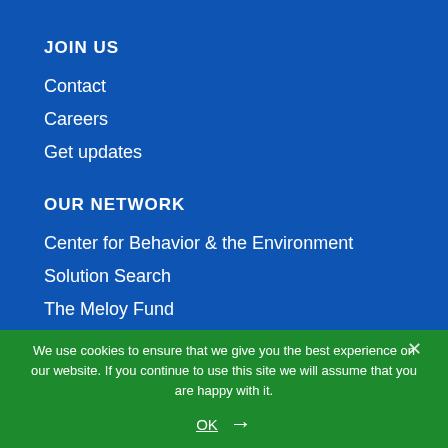JOIN US
Contact
Careers
Get updates
OUR NETWORK
Center for Behavior & the Environment
Solution Search
The Meloy Fund
We use cookies to ensure that we give you the best experience on our website. If you continue to use this site we will assume that you are happy with it.
OK →